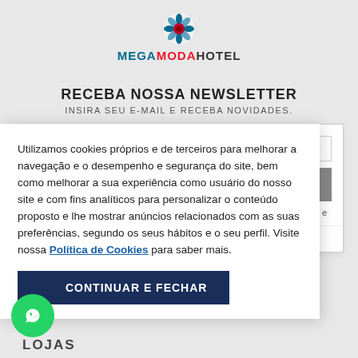[Figure (logo): MegaModa Hotel logo with decorative flower icon above the brand name]
RECEBA NOSSA NEWSLETTER
INSIRA SEU E-MAIL E RECEBA NOVIDADES.
Utilizamos cookies próprios e de terceiros para melhorar a navegação e o desempenho e segurança do site, bem como melhorar a sua experiência como usuário do nosso site e com fins analíticos para personalizar o conteúdo proposto e lhe mostrar anúncios relacionados com as suas preferências, segundo os seus hábitos e o seu perfil. Visite nossa Política de Cookies para saber mais.
CONTINUAR E FECHAR
m os termos e
LOJAS